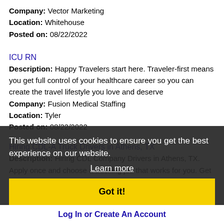Company: Vector Marketing
Location: Whitehouse
Posted on: 08/22/2022
ICU RN
Description: Happy Travelers start here. Traveler-first means you get full control of your healthcare career so you can create the travel lifestyle you love and deserve
Company: Fusion Medical Staffing
Location: Tyler
Posted on: 08/22/2022
Hiring CDL-A Truck Drivers in Athens, TX
Description: Hiring CDL Company Drivers in Athens, TX. Apply once and choose a trucking job that works for you. Get home when you want to, and get paid what you deserve. All Available Truckin
Company: Live Trucking
Location: Athens
Posted on: 08/22/2022
Loading more jobs...
This website uses cookies to ensure you get the best experience on our website.
Learn more
Got it!
Log In or Create An Account